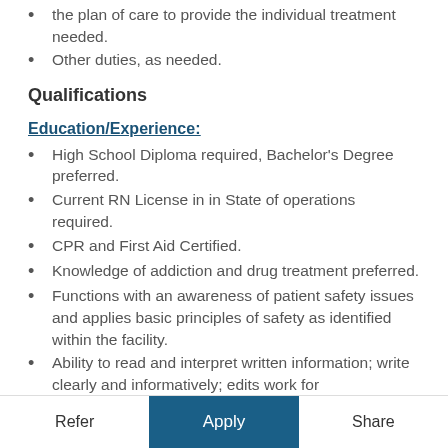the plan of care to provide the individual treatment needed.
Other duties, as needed.
Qualifications
Education/Experience:
High School Diploma required, Bachelor's Degree preferred.
Current RN License in in State of operations required.
CPR and First Aid Certified.
Knowledge of addiction and drug treatment preferred.
Functions with an awareness of patient safety issues and applies basic principles of safety as identified within the facility.
Ability to read and interpret written information; write clearly and informatively; edits work for spelling and grammar; Ability to...
Refer   Apply   Share